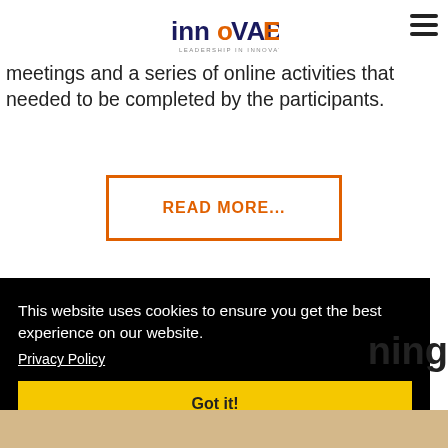InnoVADE - Leadership in Innovation
meetings and a series of online activities that needed to be completed by the participants.
READ MORE...
This website uses cookies to ensure you get the best experience on our website.
Privacy Policy
Got it!
ning